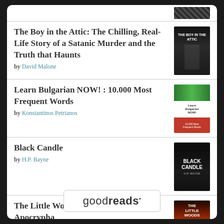[Figure (screenshot): Goodreads book list screenshot showing book covers and titles]
The Boy in the Attic: The Chilling, Real-Life Story of a Satanic Murder and the Truth that Haunts by David Malone
Learn Bulgarian NOW! : 10.000 Most Frequent Words by Konstantinos Petrianos
Black Candle by H.P. Bayne
The Little Woods: Book One of the New Apocrypha by A.G. Mock
goodreads